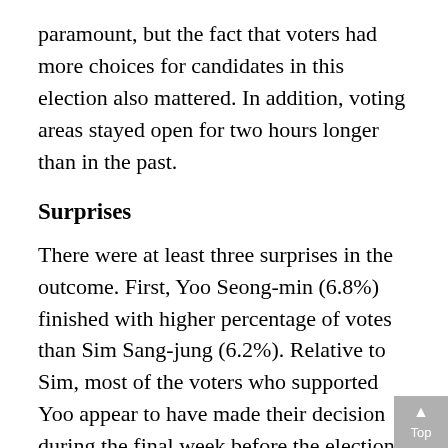paramount, but the fact that voters had more choices for candidates in this election also mattered. In addition, voting areas stayed open for two hours longer than in the past.
Surprises
There were at least three surprises in the outcome. First, Yoo Seong-min (6.8%) finished with higher percentage of votes than Sim Sang-jung (6.2%). Relative to Sim, most of the voters who supported Yoo appear to have made their decision during the final week before the election. The second unexpected outcome was Ahn Cheol-soo's performance in the Jeolla province. Ahn fared poorly in this region with only about 26~27% of the votes despite the People's Party (PP) gaining wide support in this region in the